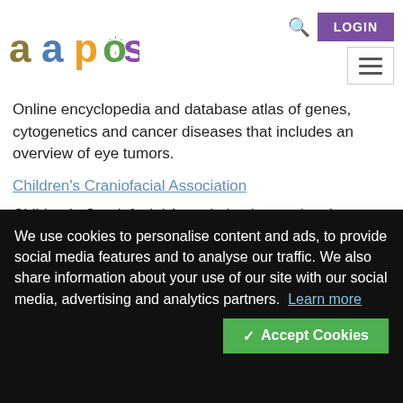[Figure (logo): AAPOS colorful logo with letters a, a, p, o, s in different colors]
Online encyclopedia and database atlas of genes, cytogenetics and cancer diseases that includes an overview of eye tumors.
Children's Craniofacial Association
Children's Craniofacial Association is a national, 501(c)3 nonprofit organization, headquartered in Dallas, Texas. Nationally and internationally, CCA
We use cookies to personalise content and ads, to provide social media features and to analyse our traffic. We also share information about your use of our site with our social media, advertising and analytics partners.  Learn more